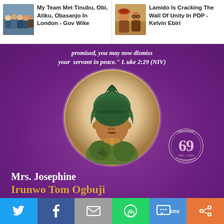My Team Met Tinubu, Obi, Atiku, Obasanjo In London - Gov Wike | Lamido Is Cracking The Wall Of Unity In PDP - Kelvin Ebiri
[Figure (photo): Obituary notice for Mrs. Josephine Irunwo Tom Ogbuji on a purple background with a circular portrait photo, age 69 badge, and Bible quote from Luke 2:29 (NIV)]
promised, you may now dismiss your servant in peace." Luke 2:29 (NIV)
Mrs. Josephine Irunwo Tom Ogbuji
Share buttons: Twitter, Facebook, Email, WhatsApp, SMS, More